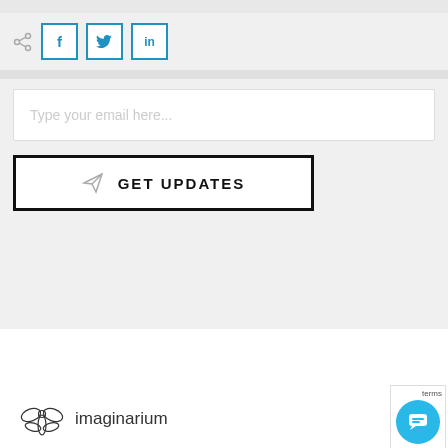[Figure (screenshot): Social share icons: share icon, Facebook (f), Twitter (bird), LinkedIn (in) buttons with teal/blue borders]
Type your email here...
GET UPDATES
[Figure (logo): Imaginarium logo with dragonfly/flower illustration and text 'imaginarium']
[Figure (other): Blue circular chat bubble widget in bottom right corner; 'terms' text visible]